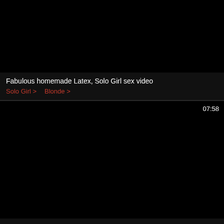[Figure (screenshot): Dark/black video thumbnail for first video card]
Fabulous homemade Latex, Solo Girl sex video
Solo Girl >   Blonde >
[Figure (screenshot): Dark/black video thumbnail for second video card with duration 07:58]
Amazing Japanese slut Jun Kusanagi in Hottest Big Tits, Couple JAV scene
Straight >   Japanese >
[Figure (screenshot): Partial dark/black video thumbnail for third card with duration 05:47]